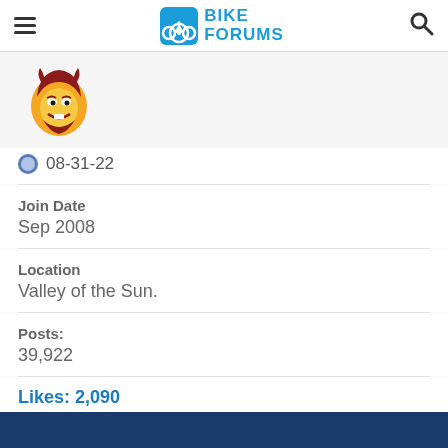BIKE FORUMS
[Figure (illustration): Arizona State Sun Devils mascot logo - cartoon devil face in maroon and gold]
08-31-22
Join Date
Sep 2008
Location
Valley of the Sun.
Posts:
39,922
Likes: 2,090
Liked 4,182 Times in 2,243 Posts